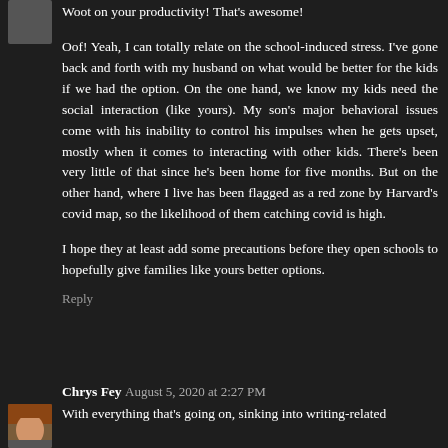Woot on your productivity! That's awesome!
Oof! Yeah, I can totally relate on the school-induced stress. I've gone back and forth with my husband on what would be better for the kids if we had the option. On the one hand, we know my kids need the social interaction (like yours). My son's major behavioral issues come with his inability to control his impulses when he gets upset, mostly when it comes to interacting with other kids. There's been very little of that since he's been home for five months. But on the other hand, where I live has been flagged as a red zone by Harvard's covid map, so the likelihood of them catching covid is high.
I hope they at least add some precautions before they open schools to hopefully give families like yours better options.
Reply
Chrys Fey August 5, 2020 at 2:27 PM
With everything that's going on, sinking into writing-related